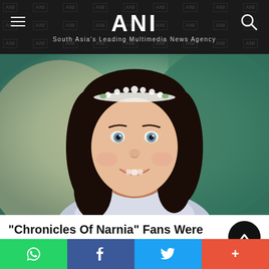ANI — South Asia's Leading Multimedia News Agency
[Figure (photo): Young girl wearing a floral tiara with short dark curly hair, smiling, dressed in light blue, against a blurred background]
"Chronicles Of Narnia" Fans Were Bemused To See How She Looks Now
40 star-kids who look unrecognizable today
BRAINBERRIES
[Figure (other): Social share bar with WhatsApp, Facebook, Twitter, and More buttons]